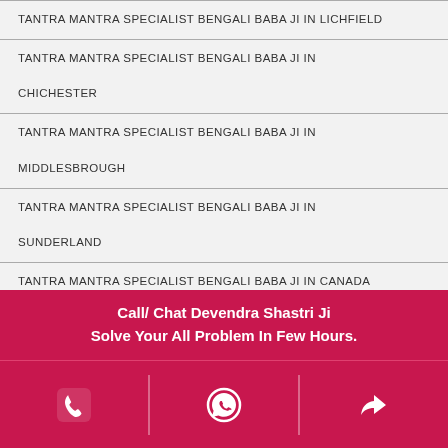TANTRA MANTRA SPECIALIST BENGALI BABA JI IN LICHFIELD
TANTRA MANTRA SPECIALIST BENGALI BABA JI IN CHICHESTER
TANTRA MANTRA SPECIALIST BENGALI BABA JI IN MIDDLESBROUGH
TANTRA MANTRA SPECIALIST BENGALI BABA JI IN SUNDERLAND
TANTRA MANTRA SPECIALIST BENGALI BABA JI IN CANADA
TANTRA MANTRA SPECIALIST BENGALI BABA JI IN TORONTO
Call/ Chat Devendra Shastri Ji
Solve Your All Problem In Few Hours.
[Figure (infographic): Icon bar with phone, WhatsApp, and share icons on dark pink background]